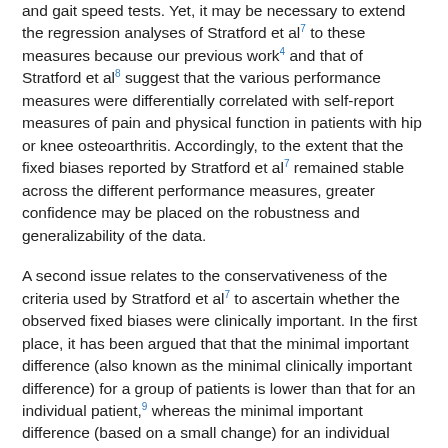and gait speed tests. Yet, it may be necessary to extend the regression analyses of Stratford et al7 to these measures because our previous work4 and that of Stratford et al8 suggest that the various performance measures were differentially correlated with self-report measures of pain and physical function in patients with hip or knee osteoarthritis. Accordingly, to the extent that the fixed biases reported by Stratford et al7 remained stable across the different performance measures, greater confidence may be placed on the robustness and generalizability of the data.
A second issue relates to the conservativeness of the criteria used by Stratford et al7 to ascertain whether the observed fixed biases were clinically important. In the first place, it has been argued that that the minimal important difference (also known as the minimal clinically important difference) for a group of patients is lower than that for an individual patient,9 whereas the minimal important difference (based on a small change) for an individual patient is reportedly lower than the minimal detectable change.10–13 Stratford